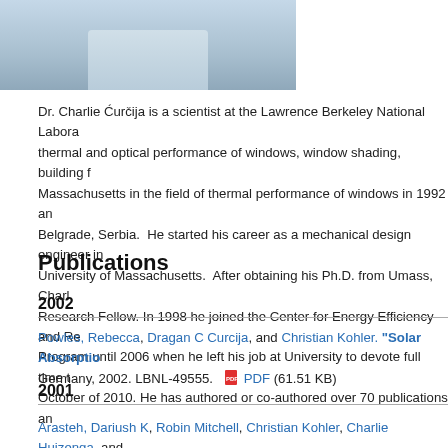[Figure (photo): Partial photo of a person wearing a light blue shirt, cropped to show only the torso/lower portion]
Dr. Charlie Ćurčija is a scientist at the Lawrence Berkeley National Labora... thermal and optical performance of windows, window shading, building f... Massachusetts in the field of thermal performance of windows in 1992 an... Belgrade, Serbia. He started his career as a mechanical design engineer in... University of Massachusetts. After obtaining his Ph.D. from Umass, Charl... Research Fellow. In 1998 he joined the Center for Energy Efficiency and Re... Program until 2006 when he left his job at University to devote full time t... October of 2010. He has authored or co-authored over 70 publications an...
Publications
2002
Powles, Rebecca, Dragan C Curcija, and Christian Kohler. "Solar Absorptio... Germany, 2002. LBNL-49555. PDF (61.51 KB)
2001
Arasteh, Dariush K, Robin Mitchell, Christian Kohler, Charlie Huizenga, and...